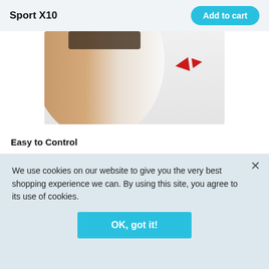Sport X10
[Figure (photo): Close-up photo of a person's ear/neck area with a red soundcore logo visible in upper right corner]
Easy to Control
Both earbuds have a button that is simple to use, even mid-workout. Use the soundcore app to customize the controls to suit your needs.
We use cookies on our website to give you the very best shopping experience we can. By using this site, you agree to its use of cookies.